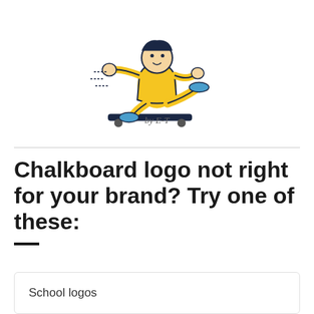[Figure (illustration): Cartoon character of a person skateboarding, wearing yellow outfit and blue shoes, with a bold retro illustration style]
by E-T
Chalkboard logo not right for your brand? Try one of these:
School logos